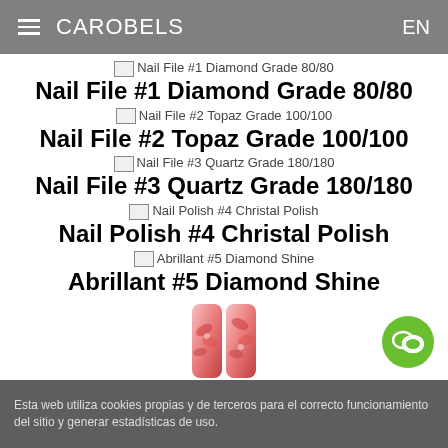CAROBELS  EN
Nail File #1 Diamond Grade 80/80
Nail File #2 Topaz Grade 100/100
Nail File #3 Quartz Grade 180/180
Nail Polish #4 Christal Polish
Abrillant #5 Diamond Shine
[Figure (photo): Pink floral nail art design on two nail tips]
[Figure (illustration): Green circular chat/speech bubble icon]
Esta web utiliza cookies propias y de terceros para el correcto funcionamiento del sitio y generar estadísticas de uso.